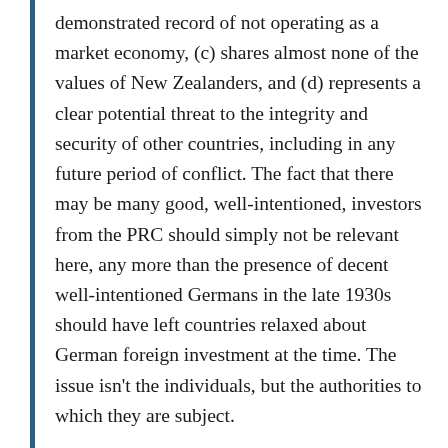demonstrated record of not operating as a market economy, (c) shares almost none of the values of New Zealanders, and (d) represents a clear potential threat to the integrity and security of other countries, including in any future period of conflict. The fact that there may be many good, well-intentioned, investors from the PRC should simply not be relevant here, any more than the presence of decent well-intentioned Germans in the late 1930s should have left countries relaxed about German foreign investment at the time. The issue isn't the individuals, but the authorities to which they are subject.